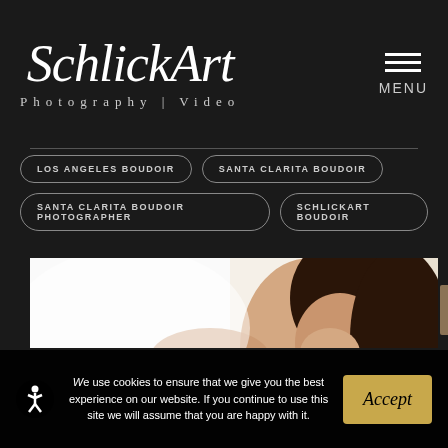[Figure (logo): SchlickArt Photography | Video logo in white italic script on dark background]
LOS ANGELES BOUDOIR
SANTA CLARITA BOUDOIR
SANTA CLARITA BOUDOIR PHOTOGRAPHER
SCHLICKART BOUDOIR
[Figure (photo): A smiling woman with dark hair looking to the side, bright high-key white background, wearing a leopard print top]
We use cookies to ensure that we give you the best experience on our website. If you continue to use this site we will assume that you are happy with it.